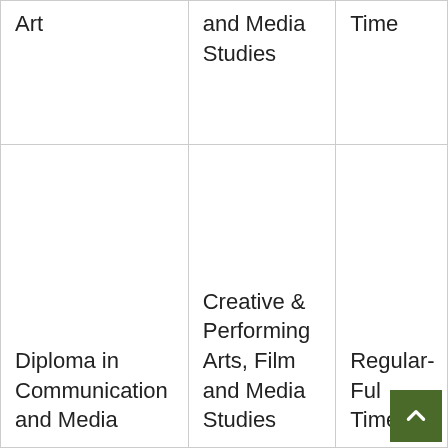| Art | and Media Studies | Time |
| Diploma in Communication and Media | Creative & Performing Arts, Film and Media Studies | Regular-Ful Time |